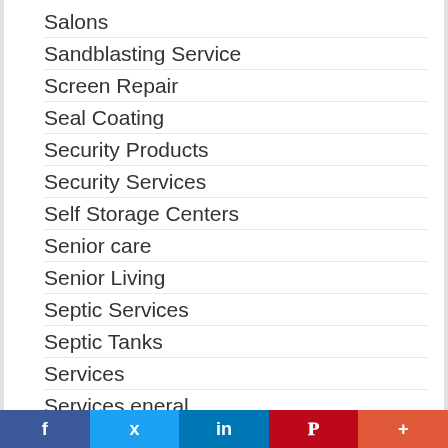Salons
Sandblasting Service
Screen Repair
Seal Coating
Security Products
Security Services
Self Storage Centers
Senior care
Senior Living
Septic Services
Septic Tanks
Services
Services eneral
Sheds